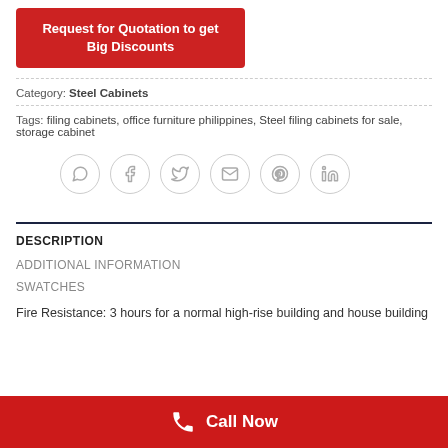Request for Quotation to get Big Discounts
Category: Steel Cabinets
Tags: filing cabinets, office furniture philippines, Steel filing cabinets for sale, storage cabinet
[Figure (infographic): Social sharing icons: WhatsApp, Facebook, Twitter, Email, Pinterest, LinkedIn — each in a light grey circle]
DESCRIPTION
ADDITIONAL INFORMATION
SWATCHES
Fire Resistance: 3 hours for a normal high-rise building and house building
Call Now